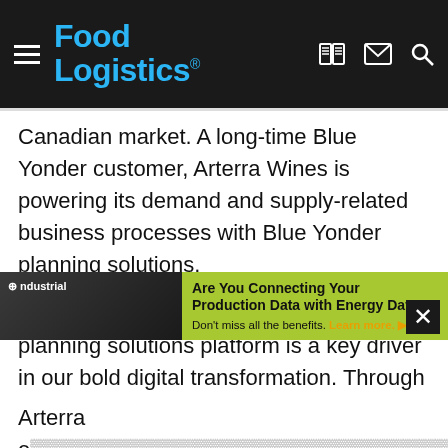Food Logistics
Canadian market. A long-time Blue Yonder customer, Arterra Wines is powering its demand and supply-related business processes with Blue Yonder planning solutions.
“Optimizing our supply and demand planning solutions platform is a key driver in our bold digital transformation. Through the expertise and efforts of Spinnaker and our Arterra team, we’ve successfully upgraded our existing platform and accelerated our ability to supply the right product at the right place for our retail customers and Canadian consumers,” says Paul Kassebaum, senior vice-President, operations, Arterra.
[Figure (other): Advertisement banner for ndustrial asking 'Are You Connecting Your Production Data with Energy Data?' with a Learn more link]
Arterra e… Blue